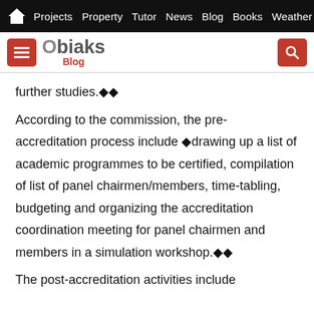Projects  Property  Tutor  News  Blog  Books  Weather
[Figure (logo): Obiaks Blog logo with hamburger menu button and search button]
further studies.◆◆
According to the commission, the pre-accreditation process include ◆drawing up a list of academic programmes to be certified, compilation of list of panel chairmen/members, time-tabling, budgeting and organizing the accreditation coordination meeting for panel chairmen and members in a simulation workshop.◆◆
The post-accreditation activities include